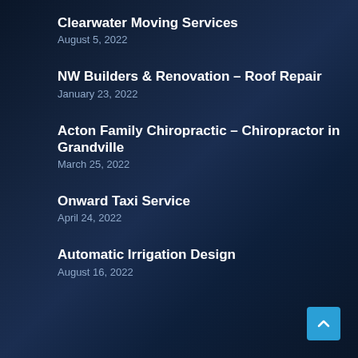Clearwater Moving Services
August 5, 2022
NW Builders & Renovation – Roof Repair
January 23, 2022
Acton Family Chiropractic – Chiropractor in Grandville
March 25, 2022
Onward Taxi Service
April 24, 2022
Automatic Irrigation Design
August 16, 2022